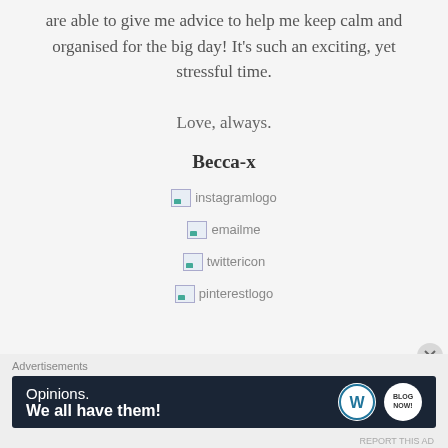are able to give me advice to help me keep calm and organised for the big day! It's such an exciting, yet stressful time.
Love, always.
Becca-x
[Figure (logo): instagramlogo broken image placeholder]
[Figure (logo): emailme broken image placeholder]
[Figure (logo): twittericon broken image placeholder]
[Figure (logo): pinterestlogo broken image placeholder]
Advertisements
[Figure (infographic): WordPress ad banner: Opinions. We all have them! with WordPress and Blog Now logos]